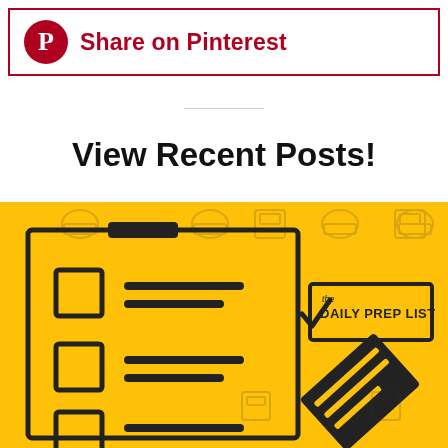[Figure (infographic): Pinterest share button with red border, Pinterest logo icon, and bold red text 'Share on Pinterest']
View Recent Posts!
[Figure (infographic): Yellow background infographic for 'The Daily Prep List' showing a checklist with three checkbox rows with lines, and a pencil/notepad icon in the lower right. Background has faint cooking/kitchen icon pattern.]